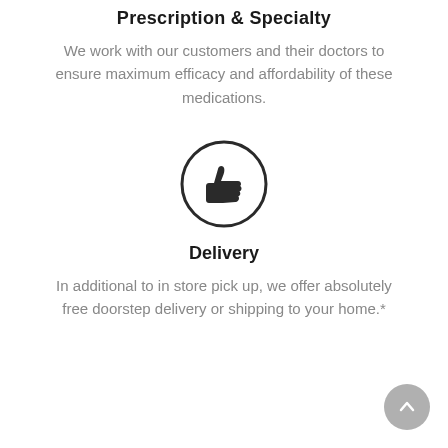Prescription & Specialty
We work with our customers and their doctors to ensure maximum efficacy and affordability of these medications.
[Figure (illustration): Thumbs up icon inside a circle]
Delivery
In additional to in store pick up, we offer absolutely free doorstep delivery or shipping to your home.*